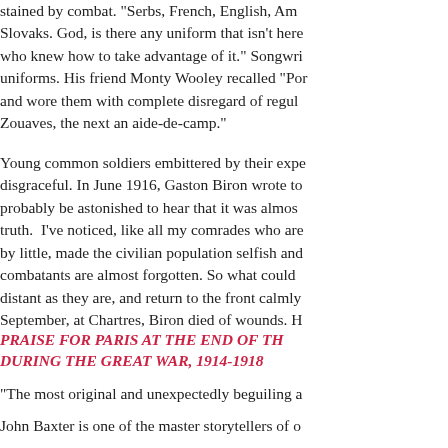stained by combat. "Serbs, French, English, Am... Slovaks. God, is there any uniform that isn't here... who knew how to take advantage of it." Songwri... uniforms. His friend Monty Wooley recalled "Por... and wore them with complete disregard of regul... Zouaves, the next an aide-de-camp."
Young common soldiers embittered by their expe... disgraceful. In June 1916, Gaston Biron wrote to... probably be astonished to hear that it was almos... truth. I've noticed, like all my comrades who are... by little, made the civilian population selfish and... combatants are almost forgotten. So what could... distant as they are, and return to the front calmly... September, at Chartres, Biron died of wounds. H...
PRAISE FOR PARIS AT THE END OF TH... DURING THE GREAT WAR, 1914-1918
“The most original and unexpectedly beguiling a...
John Baxter is one of the master storytellers of o...